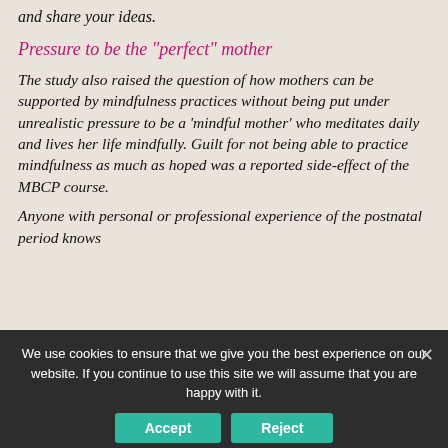and share your ideas.
Pressure to be the "perfect" mother
The study also raised the question of how mothers can be supported by mindfulness practices without being put under unrealistic pressure to be a 'mindful mother' who meditates daily and lives her life mindfully. Guilt for not being able to practice mindfulness as much as hoped was a reported side-effect of the MBCP course.
Anyone with personal or professional experience of the postnatal period knows
We use cookies to ensure that we give you the best experience on our website. If you continue to use this site we will assume that you are happy with it.